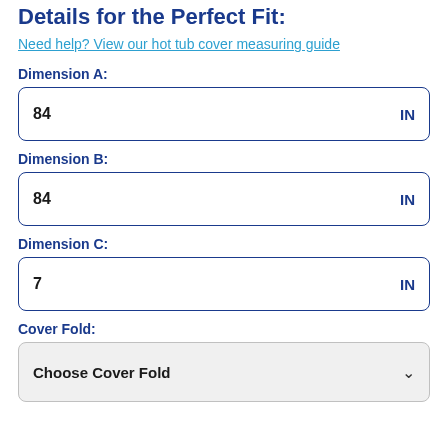Details for the Perfect Fit:
Need help? View our hot tub cover measuring guide
Dimension A:
84  IN
Dimension B:
84  IN
Dimension C:
7  IN
Cover Fold:
Choose Cover Fold